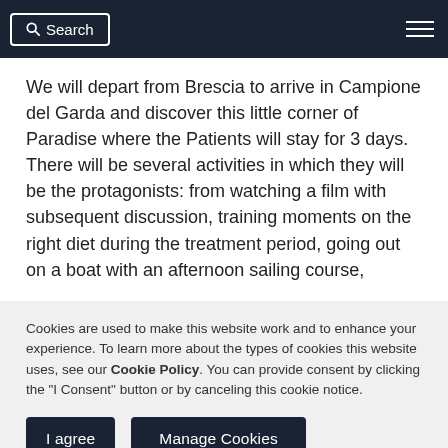Search | [menu]
We will depart from Brescia to arrive in Campione del Garda and discover this little corner of Paradise where the Patients will stay for 3 days. There will be several activities in which they will be the protagonists: from watching a film with subsequent discussion, training moments on the right diet during the treatment period, going out on a boat with an afternoon sailing course,
Cookies are used to make this website work and to enhance your experience. To learn more about the types of cookies this website uses, see our Cookie Policy. You can provide consent by clicking the "I Consent" button or by canceling this cookie notice.
I agree | Manage Cookies